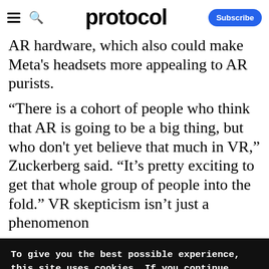protocol
AR hardware, which also could make Meta's headsets more appealing to AR purists.
“There is a cohort of people who think that AR is going to be a big thing, but who don’t yet believe that much in VR,” Zuckerberg said. “It’s pretty exciting to get that whole group of people into the fold.” VR skepticism isn’t just a phenomenon
To give you the best possible experience, this site uses cookies. If you continue browsing. you accept our use of cookies. You can review our privacy policy to find out more about the cookies we use.
Accept